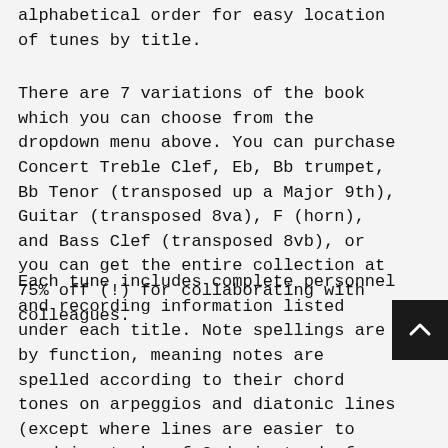alphabetical order for easy location of tunes by title.
There are 7 variations of the book which you can choose from the dropdown menu above. You can purchase Concert Treble Clef, Eb, Bb trumpet, Bb Tenor (transposed up a Major 9th), Guitar (transposed 8va), F (horn), and Bass Clef (transposed 8vb), or you can get the entire collection at 75% off (!) for collaborating with colleagues.
Each tune includes complete personnel and recording information listed under each title. Note spellings are by function, meaning notes are spelled according to their chord tones on arpeggios and diatonic lines (except where lines are easier to read in stacks of 3rds instead of augmented 2nds, etc.), and